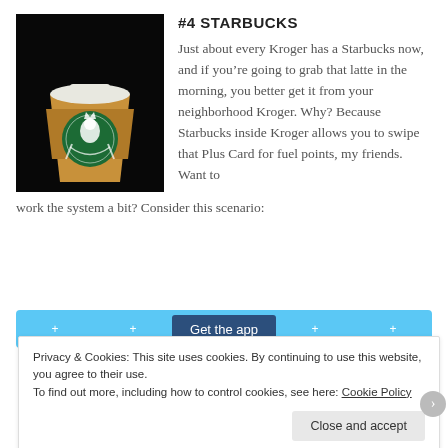#4 STARBUCKS
[Figure (photo): Photo of a Starbucks coffee cup with the green Starbucks logo, dark background]
Just about every Kroger has a Starbucks now, and if you’re going to grab that latte in the morning, you better get it from your neighborhood Kroger.  Why?  Because Starbucks inside Kroger allows you to swipe that Plus Card for fuel points, my friends.  Want to work the system a bit?  Consider this scenario:
[Figure (screenshot): App banner with 'Get the app' button on blue background]
Privacy & Cookies: This site uses cookies.  By continuing to use this website, you agree to their use.
To find out more, including how to control cookies, see here: Cookie Policy
Close and accept